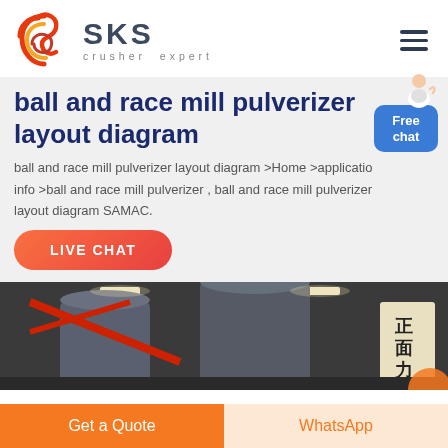[Figure (logo): SKS crusher expert logo with red swirl graphic and dark grey SKS text]
ball and race mill pulverizer layout diagram
ball and race mill pulverizer layout diagram >Home >application info >ball and race mill pulverizer , ball and race mill pulverizer layout diagram SAMAC.
[Figure (other): Free chat button with person illustration]
[Figure (photo): Industrial machinery photo showing large cylindrical mill equipment inside a factory warehouse]
LIVE CHAT
Get a Quote
WhatsApp